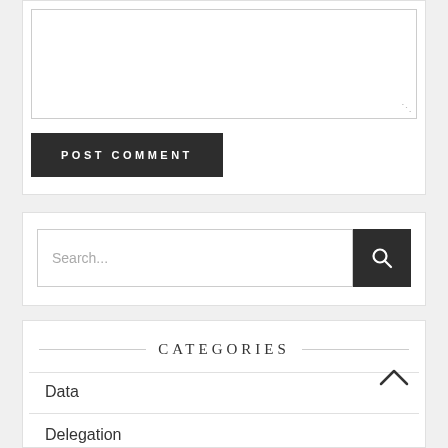[Figure (screenshot): Textarea input box with resize handle at bottom right]
POST COMMENT
[Figure (screenshot): Search input field with search button]
CATEGORIES
Data
Delegation